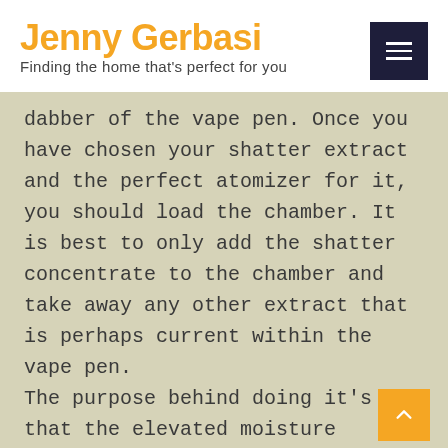Jenny Gerbasi
Finding the home that's perfect for you
dabber of the vape pen. Once you have chosen your shatter extract and the perfect atomizer for it, you should load the chamber. It is best to only add the shatter concentrate to the chamber and take away any other extract that is perhaps current within the vape pen. The purpose behind doing it's that the elevated moisture prevents the extract from burning rapidly when the vape heats up. Also, do not contact the internal heating ingredient of the vape pen with bare arms. this stage, the shatter melts and